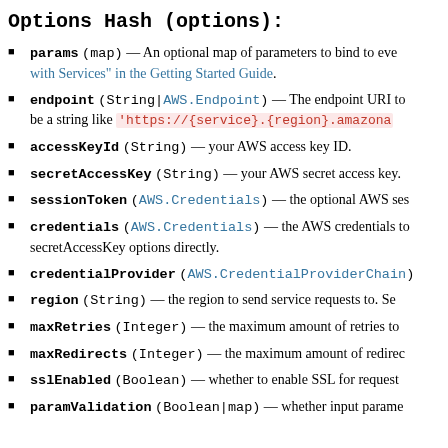Options Hash (options):
params (map) — An optional map of parameters to bind to eve with Services" in the Getting Started Guide.
endpoint (String|AWS.Endpoint) — The endpoint URI to be a string like 'https://{service}.{region}.amazona
accessKeyId (String) — your AWS access key ID.
secretAccessKey (String) — your AWS secret access key.
sessionToken (AWS.Credentials) — the optional AWS ses
credentials (AWS.Credentials) — the AWS credentials to secretAccessKey options directly.
credentialProvider (AWS.CredentialProviderChain)
region (String) — the region to send service requests to. Se
maxRetries (Integer) — the maximum amount of retries to
maxRedirects (Integer) — the maximum amount of redirec
sslEnabled (Boolean) — whether to enable SSL for request
paramValidation (Boolean|map) — whether input parame